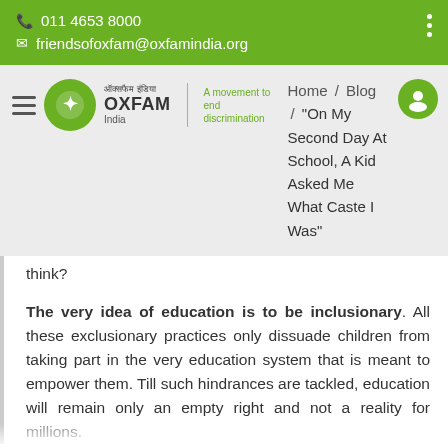011 4653 8000
friendsofofam@oxfamindia.org
[Figure (screenshot): Oxfam India navigation bar with logo, breadcrumb showing Home / Blog / 'On My Second Day At School, A Kid Asked Me What Caste I Was']
think?
The very idea of education is to be inclusionary. All these exclusionary practices only dissuade children from taking part in the very education system that is meant to empower them. Till such hindrances are tackled, education will remain only an empty right and not a reality for millions.